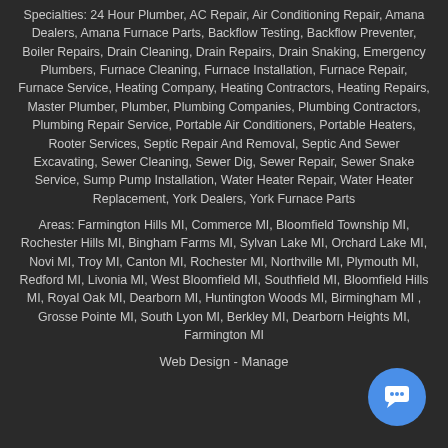Specialties: 24 Hour Plumber, AC Repair, Air Conditioning Repair, Amana Dealers, Amana Furnace Parts, Backflow Testing, Backflow Preventer, Boiler Repairs, Drain Cleaning, Drain Repairs, Drain Snaking, Emergency Plumbers, Furnace Cleaning, Furnace Installation, Furnace Repair, Furnace Service, Heating Company, Heating Contractors, Heating Repairs, Master Plumber, Plumber, Plumbing Companies, Plumbing Contractors, Plumbing Repair Service, Portable Air Conditioners, Portable Heaters, Rooter Services, Septic Repair And Removal, Septic And Sewer Excavating, Sewer Cleaning, Sewer Dig, Sewer Repair, Sewer Snake Service, Sump Pump Installation, Water Heater Repair, Water Heater Replacement, York Dealers, York Furnace Parts
Areas: Farmington Hills MI, Commerce MI, Bloomfield Township MI, Rochester Hills MI, Bingham Farms MI, Sylvan Lake MI, Orchard Lake MI, Novi MI, Troy MI, Canton MI, Rochester MI, Northville MI, Plymouth MI, Redford MI, Livonia MI, West Bloomfield MI, Southfield MI, Bloomfield Hills MI, Royal Oak MI, Dearborn MI, Huntington Woods MI, Birmingham MI , Grosse Pointe MI, South Lyon MI, Berkley MI, Dearborn Heights MI, Farmington MI
Web Design - Manage